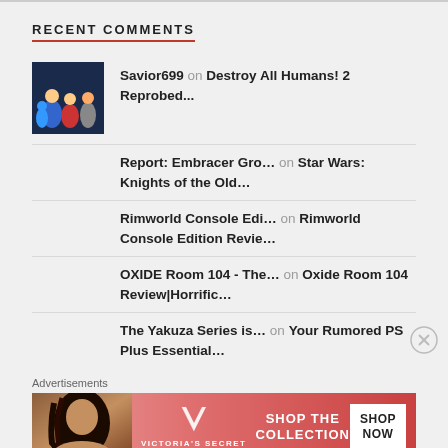RECENT COMMENTS
Savior699 on Destroy All Humans! 2 Reprobed...
Report: Embracer Gro... on Star Wars: Knights of the Old...
Rimworld Console Edi... on Rimworld Console Edition Revie...
OXIDE Room 104 - The... on Oxide Room 104 Review|Horrific...
The Yakuza Series is... on Your Rumored PS Plus Essential...
Advertisements
[Figure (screenshot): Victoria's Secret advertisement banner with model photo, VS logo, 'SHOP THE COLLECTION' text, and 'SHOP NOW' button]